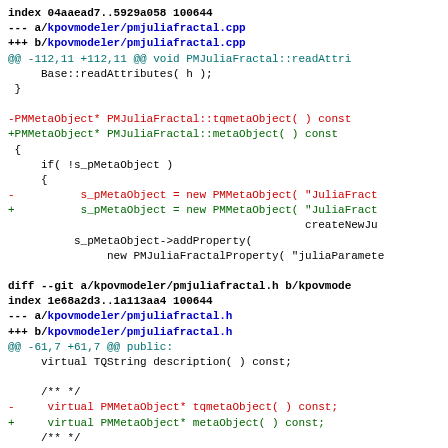index 04aaead7..5929a058 100644
--- a/kpovmodeler/pmjuliafractal.cpp
+++ b/kpovmodeler/pmjuliafractal.cpp
@@ -112,11 +112,11 @@ void PMJuliaFractal::readAttri
     Base::readAttributes( h );
  }

-PMMetaObject* PMJuliaFractal::tqmetaObject( ) const
+PMMetaObject* PMJuliaFractal::metaObject( ) const
 {
     if( !s_pMetaObject )
     {
-          s_pMetaObject = new PMMetaObject( "JuliaFract
+          s_pMetaObject = new PMMetaObject( "JuliaFract
                                             createNewJu
          s_pMetaObject->addProperty(
               new PMJuliaFractalProperty( "juliaParamete

diff --git a/kpovmodeler/pmjuliafractal.h b/kpovmode
index 1e68a2d3..1a113aa4 100644
--- a/kpovmodeler/pmjuliafractal.h
+++ b/kpovmodeler/pmjuliafractal.h
@@ -61,7 +61,7 @@ public:
     virtual TQString description( ) const;

     /** */
-     virtual PMMetaObject* tqmetaObject( ) const;
+     virtual PMMetaObject* metaObject( ) const;
     /** */
     virtual void cleanUp( ) const;